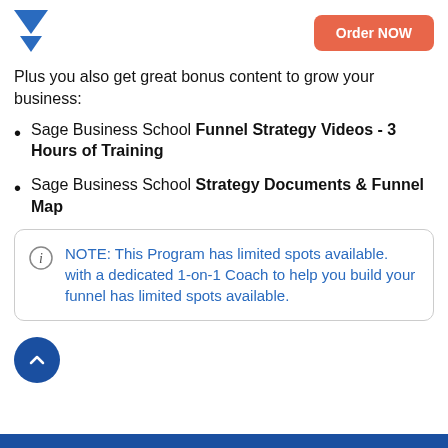[Figure (logo): Blue downward arrow/chevron logo icon]
[Figure (other): Orange rounded rectangle button with text 'Order NOW']
Plus you also get great bonus content to grow your business:
Sage Business School Funnel Strategy Videos - 3 Hours of Training
Sage Business School Strategy Documents & Funnel Map
NOTE: This Program has limited spots available. with a dedicated 1-on-1 Coach to help you build your funnel has limited spots available.
[Figure (other): Dark blue circle button with upward chevron arrow]